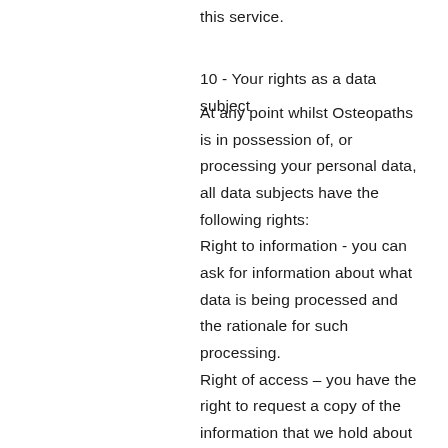this service.
10 - Your rights as a data subject
At any point whilst Osteopaths is in possession of, or processing your personal data, all data subjects have the following rights:
Right to information - you can ask for information about what data is being processed and the rationale for such processing.
Right of access – you have the right to request a copy of the information that we hold about you.
Right of rectification – you have a right to correct data that we hold about you that is inaccurate or incomplete.
Right to be forgotten – in certain